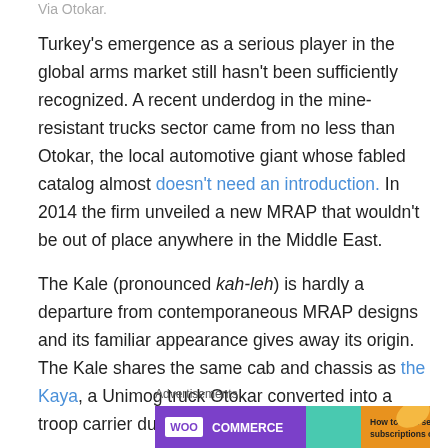Via Otokar.
Turkey's emergence as a serious player in the global arms market still hasn't been sufficiently recognized. A recent underdog in the mine-resistant trucks sector came from no less than Otokar, the local automotive giant whose fabled catalog almost doesn't need an introduction. In 2014 the firm unveiled a new MRAP that wouldn't be out of place anywhere in the Middle East.
The Kale (pronounced kah-leh) is hardly a departure from contemporaneous MRAP designs and its familiar appearance gives away its origin. The Kale shares the same cab and chassis as the Kaya, a Unimog truck Otokar converted into a troop carrier during the late 2000s.
Advertisements
[Figure (other): WooCommerce advertisement banner: purple left section with WooCommerce logo, teal arrow shape in middle, orange right section with text 'How to start selling subscriptions online']